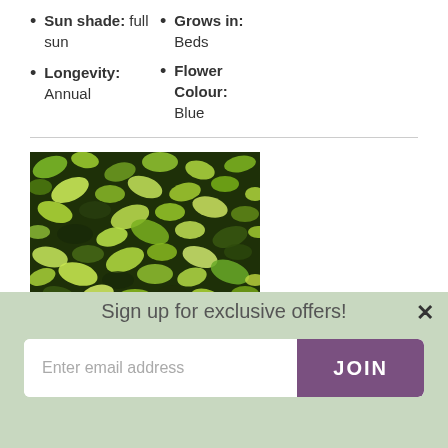Sun shade: full sun
Grows in: Beds
Flower Colour: Blue
Longevity: Annual
[Figure (photo): Dense green leafy plant foliage, viewed from above, showing bright yellow-green and dark green leaves covering entire frame]
Sign up for exclusive offers!
Enter email address
JOIN